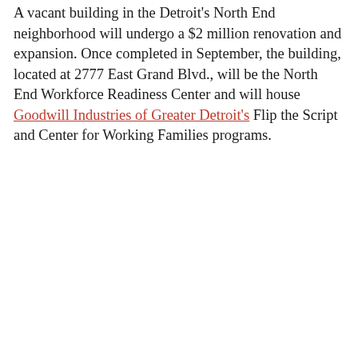A vacant building in the Detroit's North End neighborhood will undergo a $2 million renovation and expansion. Once completed in September, the building, located at 2777 East Grand Blvd., will be the North End Workforce Readiness Center and will house Goodwill Industries of Greater Detroit's Flip the Script and Center for Working Families programs.